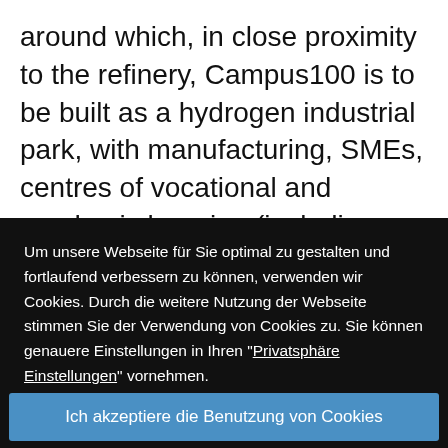around which, in close proximity to the refinery, Campus100 is to be built as a hydrogen industrial park, with manufacturing, SMEs, centres of vocational and academic learning (including CPD) and an entrepreneurial space. The pre-conditions for this at the site are
Um unsere Webseite für Sie optimal zu gestalten und fortlaufend verbessern zu können, verwenden wir Cookies. Durch die weitere Nutzung der Webseite stimmen Sie der Verwendung von Cookies zu. Sie können genauere Einstellungen in Ihren "Privatsphäre Einstellungen" vornehmen.
Ich akzeptiere die Benutzung von Cookies